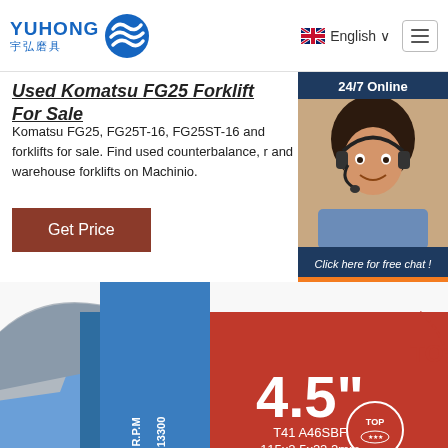[Figure (logo): Yuhong logo with blue wave icon and Chinese characters 宇弘磨具]
English ∨
Used Komatsu FG25 Forklift For Sale
Komatsu FG25, FG25T-16, FG25ST-16 and forklifts for sale. Find used counterbalance, r and warehouse forklifts on Machinio.
Get Price
[Figure (photo): Customer service representative with headset, 24/7 Online chat widget with QUOTATION button]
[Figure (photo): Red and blue 4.5 inch grinding/cutting disc labeled T41 A46SBF 115x2.5x22.2mm, R.P.M 13300, with TOP, ISO 9001, MPA TESTED certification logos]